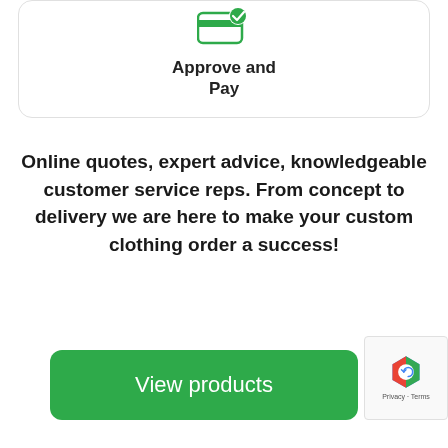[Figure (illustration): A white rounded card containing a green icon of a hand holding a payment/credit card with a checkmark, representing 'Approve and Pay']
Approve and
Pay
Online quotes, expert advice, knowledgeable customer service reps. From concept to delivery we are here to make your custom clothing order a success!
[Figure (other): Green rounded button labeled 'View products']
[Figure (other): reCAPTCHA badge with logo and Privacy/Terms text]